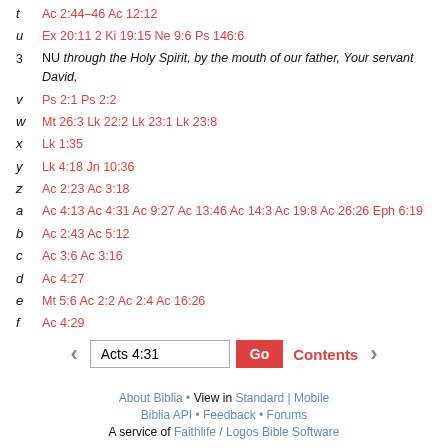t  Ac 2:44–46 Ac 12:12
u  Ex 20:11 2 Ki 19:15 Ne 9:6 Ps 146:6
3  NU through the Holy Spirit, by the mouth of our father, Your servant David,
v  Ps 2:1 Ps 2:2
w  Mt 26:3 Lk 22:2 Lk 23:1 Lk 23:8
x  Lk 1:35
y  Lk 4:18 Jn 10:36
z  Ac 2:23 Ac 3:18
a  Ac 4:13 Ac 4:31 Ac 9:27 Ac 13:46 Ac 14:3 Ac 19:8 Ac 26:26 Eph 6:19
b  Ac 2:43 Ac 5:12
c  Ac 3:6 Ac 3:16
d  Ac 4:27
e  Mt 5:6 Ac 2:2 Ac 2:4 Ac 16:26
f  Ac 4:29
Acts 4:31  Go  Contents  About Biblia • View in Standard | Mobile  Biblia API • Feedback • Forums  A service of Faithlife / Logos Bible Software